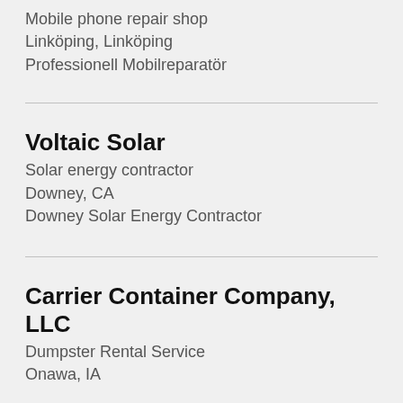Mobile phone repair shop
Linköping, Linköping
Professionell Mobilreparatör
Voltaic Solar
Solar energy contractor
Downey, CA
Downey Solar Energy Contractor
Carrier Container Company, LLC
Dumpster Rental Service
Onawa, IA